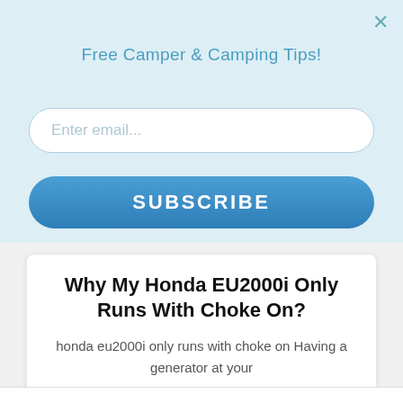Free Camper & Camping Tips!
Enter email...
SUBSCRIBE
Why My Honda EU2000i Only Runs With Choke On?
honda eu2000i only runs with choke on Having a generator at your